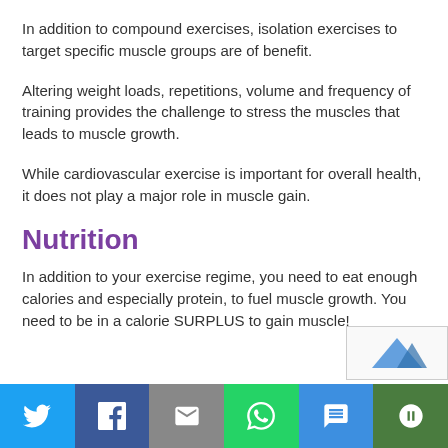In addition to compound exercises, isolation exercises to target specific muscle groups are of benefit.
Altering weight loads, repetitions, volume and frequency of training provides the challenge to stress the muscles that leads to muscle growth.
While cardiovascular exercise is important for overall health, it does not play a major role in muscle gain.
Nutrition
In addition to your exercise regime, you need to eat enough calories and especially protein, to fuel muscle growth. You need to be in a calorie SURPLUS to gain muscle!
[Figure (other): Social media share bar with Twitter, Facebook, Email, WhatsApp, SMS, and More buttons]